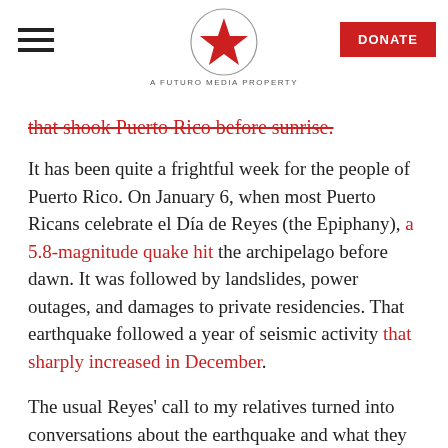A FUTURO MEDIA PROPERTY
that shook Puerto Rico before sunrise.
It has been quite a frightful week for the people of Puerto Rico. On January 6, when most Puerto Ricans celebrate el Día de Reyes (the Epiphany), a 5.8-magnitude quake hit the archipelago before dawn. It was followed by landslides, power outages, and damages to private residencies. That earthquake followed a year of seismic activity that sharply increased in December.
The usual Reyes' call to my relatives turned into conversations about the earthquake and what they were doing to prepare in case of a stronger one and a tsunami. To this day, the majority of my relatives live in Puerto Rico's west and southwest coasts, most of them in zones prone to flooding and in the tsunami